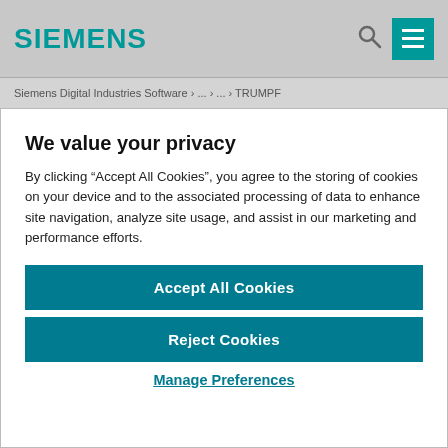SIEMENS
Siemens Digital Industries Software › ... › ... › TRUMPF
We value your privacy
By clicking “Accept All Cookies”, you agree to the storing of cookies on your device and to the associated processing of data to enhance site navigation, analyze site usage, and assist in our marketing and performance efforts.
Accept All Cookies
Reject Cookies
Manage Preferences